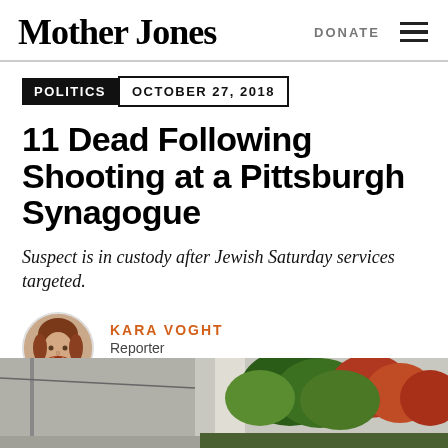Mother Jones  DONATE
POLITICS  OCTOBER 27, 2018
11 Dead Following Shooting at a Pittsburgh Synagogue
Suspect is in custody after Jewish Saturday services targeted.
KARA VOGHT
Reporter
Bio
[Figure (photo): Outdoor street scene with colorful autumn trees in red, orange and green foliage]